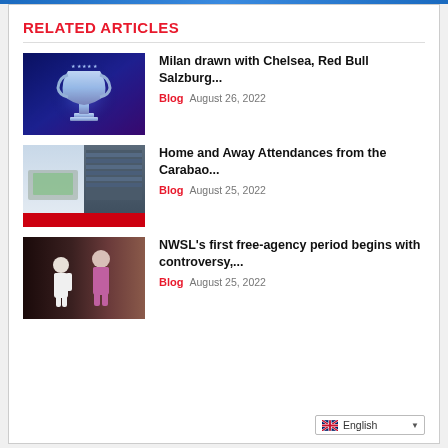RELATED ARTICLES
[Figure (photo): Champions League trophy on dark blue/purple background]
Milan drawn with Chelsea, Red Bull Salzburg...
Blog  August 26, 2022
[Figure (photo): Stadium collage with crowd images and red bar]
Home and Away Attendances from the Carabao...
Blog  August 25, 2022
[Figure (photo): Soccer players on field, one in white one in pink/purple goalkeeper kit]
NWSL's first free-agency period begins with controversy,...
Blog  August 25, 2022
English